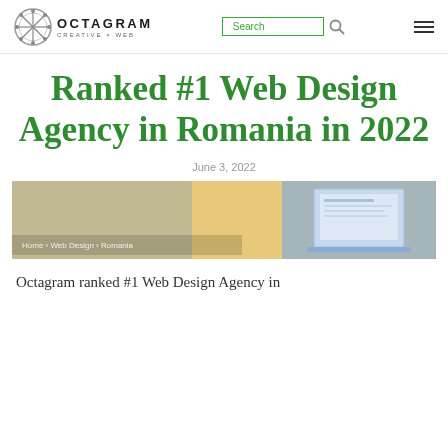Octagram Creative x Web — Search navigation
Ranked #1 Web Design Agency in Romania in 2022
June 3, 2022
[Figure (screenshot): Hero banner image showing a person working on a laptop, with a breadcrumb navigation overlay reading: Home › Web Design › Romania]
Octagram ranked #1 Web Design Agency in